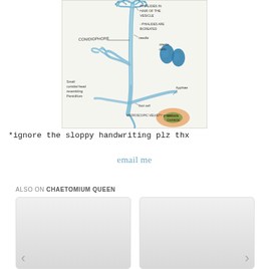[Figure (illustration): Hand-drawn biology diagram showing a fungal structure with labeled parts: conidiophore, phialides in hair of the vesicle, phialides are bicreated, needle, sterile cells, hyphae, small conidial head resembling penicillium, foot cell, microscopic velvety ground, brown change]
*ignore the sloppy handwriting plz thx
email me
ALSO ON CHAETOMIUM QUEEN